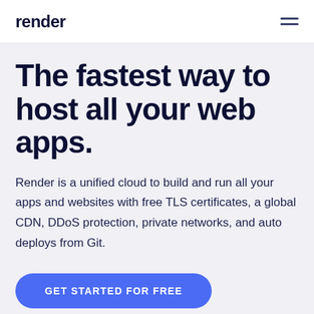render
The fastest way to host all your web apps.
Render is a unified cloud to build and run all your apps and websites with free TLS certificates, a global CDN, DDoS protection, private networks, and auto deploys from Git.
GET STARTED FOR FREE